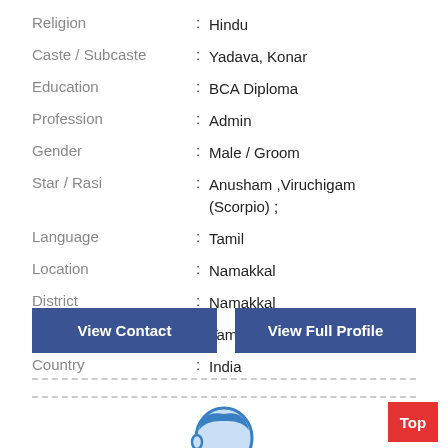Religion : Hindu
Caste / Subcaste : Yadava, Konar
Education : BCA Diploma
Profession : Admin
Gender : Male / Groom
Star / Rasi : Anusham ,Viruchigam (Scorpio) ;
Language : Tamil
Location : Namakkal
District : Namakkal
State : Tamil Nadu
Country : India
View Contact
View Full Profile
[Figure (illustration): Male avatar/silhouette profile icon, blue outline with light blue fill, showing a man's head and shoulders]